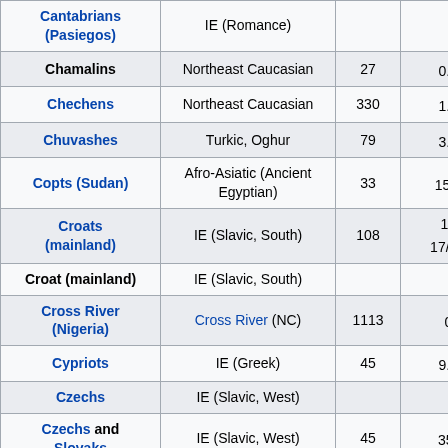| Group | Language Family | N | Frequencies |  |
| --- | --- | --- | --- | --- |
| Cantabrians (Pasiegos) | IE (Romance) |  |  |  |
| Chamalins | Northeast Caucasian | 27 | 0.0[16] | 27 |
| Chechens | Northeast Caucasian | 330 | 1.8[43] | 330 |
| Chuvashes | Turkic, Oghur | 79 | 3.8[44] | 79 |
| Copts (Sudan) | Afro-Asiatic (Ancient Egyptian) | 33 | 15.2[23] |  |
| Croats (mainland) | IE (Slavic, South) | 108 | 15.74 17/108[7] | 108 |
| Croat (mainland) | IE (Slavic, South) |  |  |  |
| Cross River (Nigeria) | Cross River (NC) | 1113 | 0[46] |  |
| Cypriots | IE (Greek) | 45 | 9.0[25] | 45 |
| Czechs | IE (Slavic, West) |  |  | 25 |
| Czechs and Slovaks | IE (Slavic, West) | 45 | 35.6[6] | 45 |
| D... | IE (Germanic, North) | 10 | 11.7[37] | 10 |